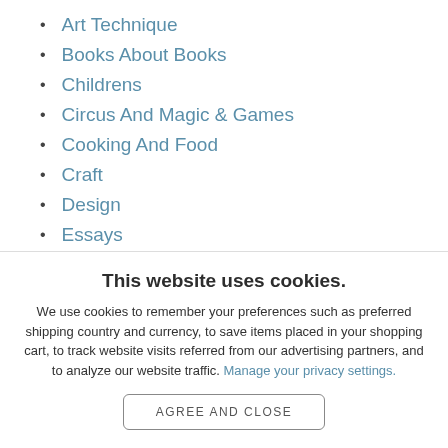Art Technique
Books About Books
Childrens
Circus And Magic & Games
Cooking And Food
Craft
Design
Essays
Fauna
This website uses cookies.
We use cookies to remember your preferences such as preferred shipping country and currency, to save items placed in your shopping cart, to track website visits referred from our advertising partners, and to analyze our website traffic. Manage your privacy settings.